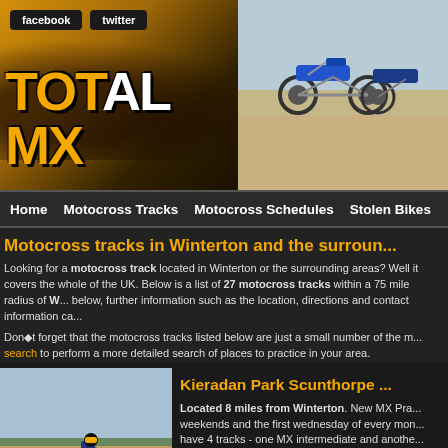[Figure (screenshot): TotalMX website header banner with logo, facebook and twitter buttons, and motocross bikes photo]
Home  Motocross Tracks  Motocross Schedules  Stolen Bikes
Motocross tracks in Winterton and the surroun...
Looking for a motocross track located in Winterton or the surrounding areas? Well it covers the whole of the UK. Below is a list of 27 motocross tracks within a 75 mile radius of W... below, further information such as the location, directions and contact information ca...
Don◆t forget that the motocross tracks listed below are just a small number of the m... search to perform a more detailed search of places to practice in your area.
[Figure (photo): Motocross rider on a dirt bike at a track]
Kieradan Park Scunthorpe
Located 8 miles from Winterton. New MX Pra... weekends and the first wednesday of every mon... have 4 tracks - one MX intermediate and anothe... have a minibike track and a kids auto track....
Click for more info »